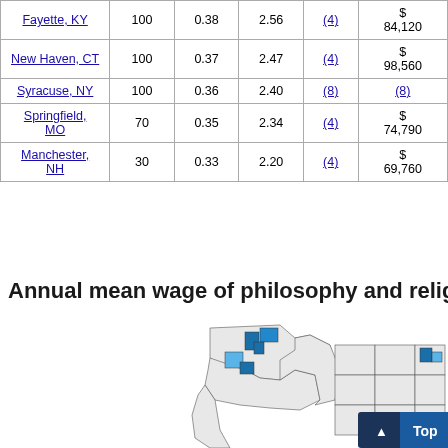| Area | Employment | Employment per thousand jobs | Location quotient | Median hourly wage | Annual mean wage |
| --- | --- | --- | --- | --- | --- |
| Fayette, KY | 100 | 0.38 | 2.56 | (4) | $ 84,120 |
| New Haven, CT | 100 | 0.37 | 2.47 | (4) | $ 98,560 |
| Syracuse, NY | 100 | 0.36 | 2.40 | (8) | (8) |
| Springfield, MO | 70 | 0.35 | 2.34 | (4) | $ 74,790 |
| Manchester, NH | 30 | 0.33 | 2.20 | (4) | $ 69,760 |
Annual mean wage of philosophy and religion teac...
[Figure (map): US map showing geographic distribution of philosophy and religion teachers, with highlighted counties in the Pacific Northwest and Northeast regions shown in blue shades.]